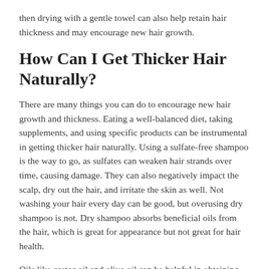then drying with a gentle towel can also help retain hair thickness and may encourage new hair growth.
How Can I Get Thicker Hair Naturally?
There are many things you can do to encourage new hair growth and thickness. Eating a well-balanced diet, taking supplements, and using specific products can be instrumental in getting thicker hair naturally. Using a sulfate-free shampoo is the way to go, as sulfates can weaken hair strands over time, causing damage. They can also negatively impact the scalp, dry out the hair, and irritate the skin as well. Not washing your hair every day can be good, but overusing dry shampoo is not. Dry shampoo absorbs beneficial oils from the hair, which is great for appearance but not great for hair health.
Oils like castor oil and olive oil can be helpful in obtaining thicker hair naturally. Castor oil has a large amount of